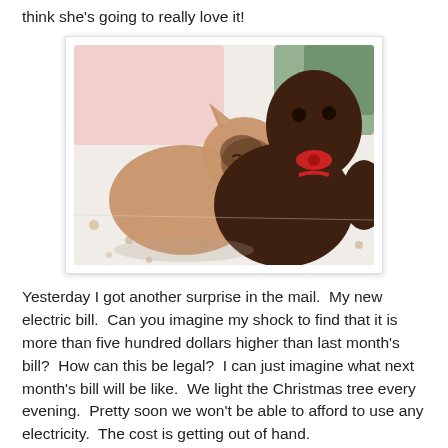think she's going to really love it!
[Figure (photo): A Siamese cat curled up sleeping next to a dark brown stuffed animal toy with red accents, on a white patterned bedsheet. A person in a pink top is partially visible in the background.]
Yesterday I got another surprise in the mail.  My new electric bill.  Can you imagine my shock to find that it is more than five hundred dollars higher than last month's bill?  How can this be legal?  I can just imagine what next month's bill will be like.  We light the Christmas tree every evening.  Pretty soon we won't be able to afford to use any electricity.  The cost is getting out of hand.
I'm off now to do a bit of blog reading.  So, till tomorrow, Y'all have a fantabulous day.